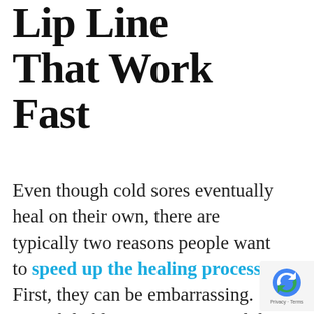Lip Line That Work Fast
Even though cold sores eventually heal on their own, there are typically two reasons people want to speed up the healing process. First, they can be embarrassing. Unsightly blisters on or around the lip would make anyone want to heal the problem quickly.